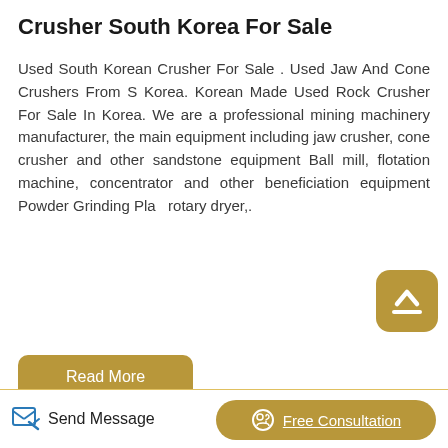Crusher South Korea For Sale
Used South Korean Crusher For Sale . Used Jaw And Cone Crushers From S Korea. Korean Made Used Rock Crusher For Sale In Korea. We are a professional mining machinery manufacturer, the main equipment including jaw crusher, cone crusher and other sandstone equipment Ball mill, flotation machine, concentrator and other beneficiation equipment Powder Grinding Plan rotary dryer,.
[Figure (other): Scroll-to-top button: rounded square golden button with upward chevron/arrow icon]
[Figure (other): Read More button: golden rounded rectangle button with white text]
[Figure (photo): Industrial facility photo showing industrial tanks and building structures]
[Figure (other): Bottom bar with Send Message link (with edit icon) and Free Consultation button (golden pill shape with headphone icon)]